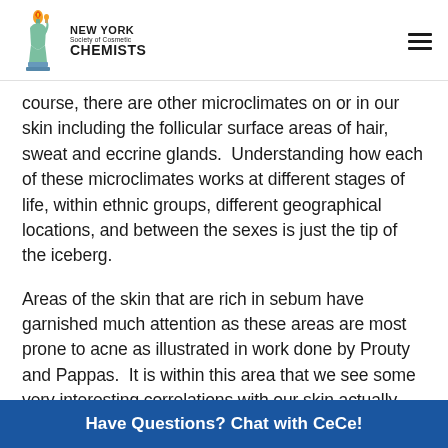NEW YORK Society of Cosmetic CHEMISTS
course, there are other microclimates on or in our skin including the follicular surface areas of hair, sweat and eccrine glands.  Understanding how each of these microclimates works at different stages of life, within ethnic groups, different geographical locations, and between the sexes is just the tip of the iceberg.
Areas of the skin that are rich in sebum have garnished much attention as these areas are most prone to acne as illustrated in work done by Prouty and Pappas.  It is within this area that we see some very interesting correlations with our skin actually regulating its own biodiversity.  Hair follicle-associated sebaceous glands secrete sebum, a highly complex lipid mixture that covers the s... versatility o...
Have Questions? Chat with CeCe!